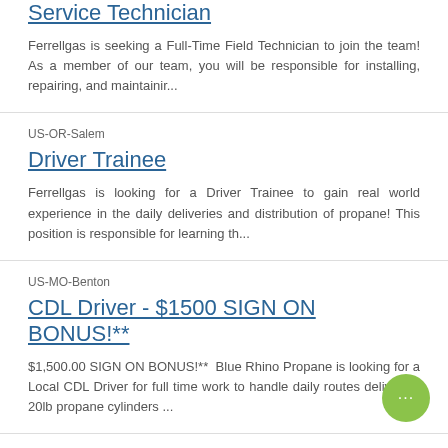Service Technician
Ferrellgas is seeking a Full-Time Field Technician to join the team! As a member of our team, you will be responsible for installing, repairing, and maintainir...
US-OR-Salem
Driver Trainee
Ferrellgas is looking for a Driver Trainee to gain real world experience in the daily deliveries and distribution of propane! This position is responsible for learning th...
US-MO-Benton
CDL Driver - $1500 SIGN ON BONUS!**
$1,500.00 SIGN ON BONUS!**  Blue Rhino Propane is looking for a Local CDL Driver for full time work to handle daily routes delivering 20lb propane cylinders ...
US-MO-Columbia